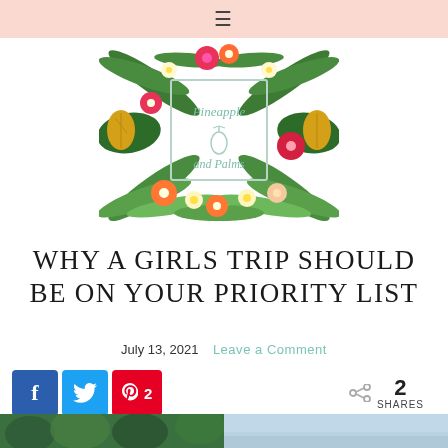≡
[Figure (logo): Pineapple and Palms blog logo — tropical floral wreath with hibiscus, plumeria, monstera leaves, and a pineapple surrounding a square frame with script text 'Pineapple and Palms' and a pineapple icon]
WHY A GIRLS TRIP SHOULD BE ON YOUR PRIORITY LIST
July 13, 2021   Leave a Comment
f  [twitter bird]  p 2   < 2 SHARES